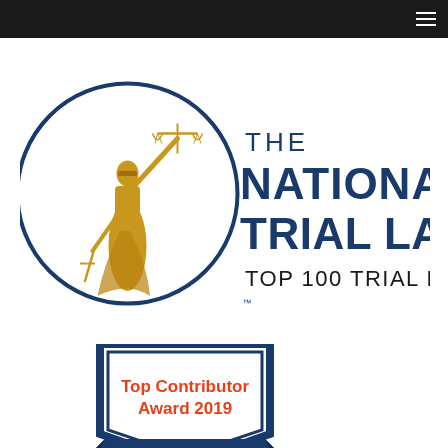≡
[Figure (logo): The National Trial Lawyers – Top 100 Trial Lawyers logo featuring a golden Lady Justice statue holding scales, inside a circle, with dark navy text reading THE NATIONAL TRIAL LAWYERS and TOP 100 TRIAL LAWYERS]
[Figure (illustration): Award badge in dark navy blue shield shape with text 'Top Contributor Award 2019' in red/coral and 'Philip Michael Smith' on a banner below]